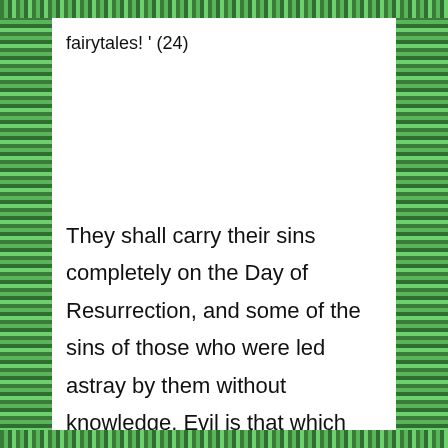fairytales! ' (24)
They shall carry their sins completely on the Day of Resurrection, and some of the sins of those who were led astray by them without knowledge. Evil is that which they sin. (25)